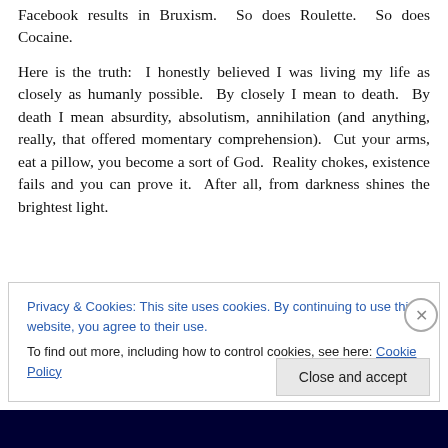Facebook results in Bruxism.  So does Roulette.  So does Cocaine.
Here is the truth:  I honestly believed I was living my life as closely as humanly possible.  By closely I mean to death.  By death I mean absurdity, absolutism, annihilation (and anything, really, that offered momentary comprehension).  Cut your arms, eat a pillow, you become a sort of God.  Reality chokes, existence fails and you can prove it.  After all, from darkness shines the brightest light.
Privacy & Cookies: This site uses cookies. By continuing to use this website, you agree to their use.
To find out more, including how to control cookies, see here: Cookie Policy
Close and accept